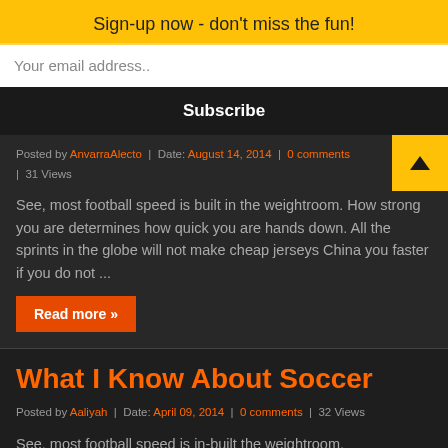Sign-up now - don't miss the fun!
Your email address..
Subscribe
Posted by AnvarraAlecto  |  Date: August 14, 2014  |  0 comments  |  31 Views
See, most football speed is built in the weightroom. How strong you are determines how quick you are hands down. All the sprints in the globe will not make cheap jerseys China you faster if you do not ...
Read more »
What I Know About Soccer
Posted by Aaliyah  |  Date: April 09, 2014  |  0 comments  |  32 Views
See, most football speed is in-built the weightroom. How strong you are determines how much quicker you become. All